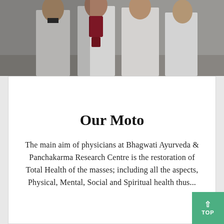[Figure (photo): Group photo of four physicians/doctors in white coats, standing together. One person in the center wears a dark red scarf.]
Our Moto
The main aim of physicians at Bhagwati Ayurveda & Panchakarma Research Centre is the restoration of Total Health of the masses; including all the aspects, Physical, Mental, Social and Spiritual health thus...